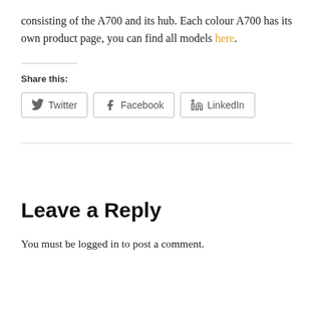consisting of the A700 and its hub. Each colour A700 has its own product page, you can find all models here.
Share this:
[Figure (other): Social share buttons for Twitter, Facebook, and LinkedIn]
Leave a Reply
You must be logged in to post a comment.